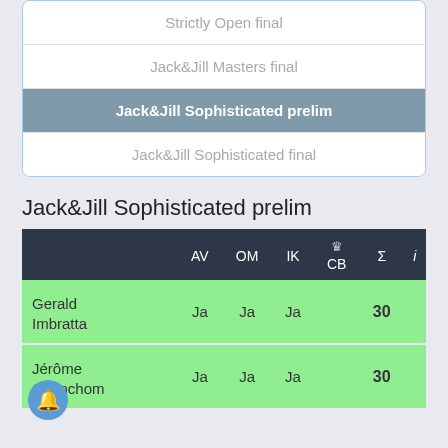Strictly Open final
Jack&Jill Masters final
Jack&Jill Sophisticated prelim
Jack&Jill Sophisticated final
Jack&Jill Sophisticated prelim
|  | AV | OM | IK | CB (crown) | Σ | i |
| --- | --- | --- | --- | --- | --- | --- |
| Gerald Imbratta | Ja | Ja | Ja |  | 30 |  |
| Jérôme Chanchom | Ja | Ja | Ja |  | 30 |  |